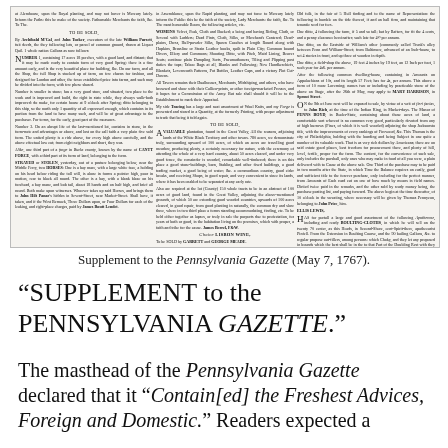[Figure (photo): Facsimile of the Supplement to the Pennsylvania Gazette newspaper page (May 7, 1767), showing multiple columns of dense small-type colonial-era text including advertisements and notices.]
Supplement to the Pennsylvania Gazette (May 7, 1767).
"SUPPLEMENT to the PENNSYLVANIA GAZETTE."
The masthead of the Pennsylvania Gazette declared that it "Contain[ed] the Freshest Advices, Foreign and Domestic." Readers expected a